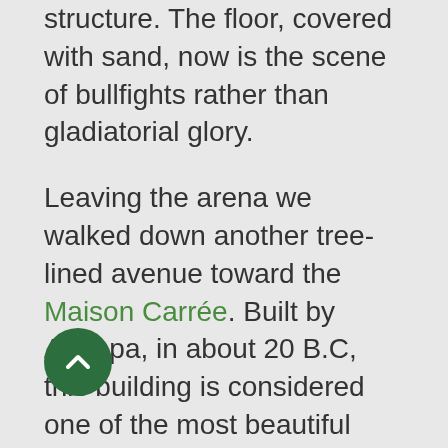structure. The floor, covered with sand, now is the scene of bullfights rather than gladiatorial glory.
Leaving the arena we walked down another tree-lined avenue toward the Maison Carrée. Built by Agrippa, in about 20 B.C, this building is considered one of the most beautiful and well-preserved temples of the Roman world. Twice as long 26.5 m (87 feet) as it is wide 13.5 m (42 feet), it was a major influence during Classical Revival period, inspiring Thomas Jefferson's Virginia State Capitol